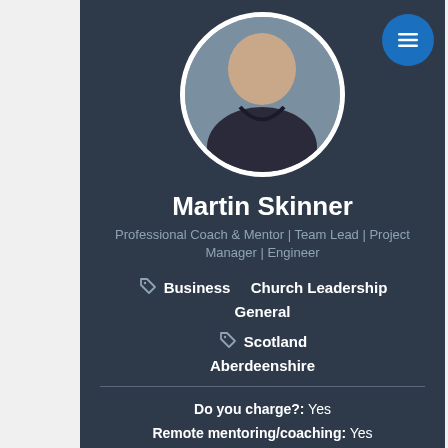[Figure (photo): Profile photo of Martin Skinner, a middle-aged man in a dark jacket, smiling, shown in a circular cropped frame]
Martin Skinner
Professional Coach & Mentor | Team Lead | Project Manager | Engineer
Business  Church Leadership  General
Scotland  Aberdeenshire
Do you charge?: Yes
Remote mentoring/coaching: Yes